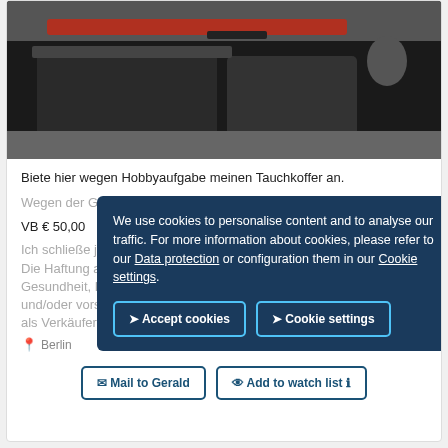[Figure (photo): Photo of a diving bag/case, dark grey and black with a red stripe, viewed from above at an angle]
Biete hier wegen Hobbyaufgabe meinen Tauchkoffer an.
Wegen der Größe ist nur eine Abholung in Berlin möglich.
VB € 50,00
Ich schließe jegliche Sachmangelhaftung aus. Die Haftung aus Schad... Gesundheit, Körper oder Leben und grob fahrlässiger und/oder vorsätzlicher Verletzungen meiner Pflichten als Verkäufer bleibt uneingeschränkt.
Berlin
[Figure (screenshot): Cookie consent overlay with text: We use cookies to personalise content and to analyse our traffic. For more information about cookies, please refer to our Data protection or configuration them in our Cookie settings. With two buttons: Accept cookies and Cookie settings.]